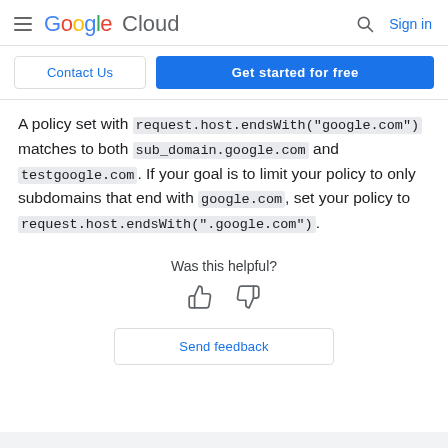Google Cloud — Sign in
Contact Us   Get started for free
A policy set with request.host.endsWith("google.com") matches to both sub_domain.google.com and testgoogle.com. If your goal is to limit your policy to only subdomains that end with google.com, set your policy to request.host.endsWith(".google.com").
Was this helpful?
Send feedback